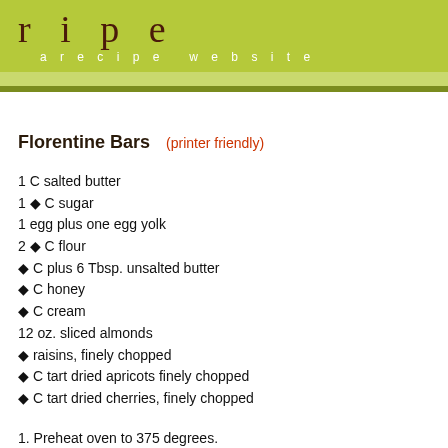ripe  a recipe website
Florentine Bars
(printer friendly)
1 C salted butter
1 ◆ C sugar
1 egg plus one egg yolk
2 ◆ C flour
◆ C plus 6 Tbsp. unsalted butter
◆ C honey
◆ C cream
12 oz. sliced almonds
◆ raisins, finely chopped
◆ C tart dried apricots finely chopped
◆ C tart dried cherries, finely chopped
1. Preheat oven to 375 degrees.
2. In large bowl, cream salted butter with ◆ C sugar until light and fluffy. Add egg and mix well (dough will be very soft.) Transfer to a floured 16 x 11◆ parchment paper and dough (on parchment) to a large rimmed baking pan. Bake until golden brown, about 12...
3. In a medium saucepan over medium heat, stir together unsalted butter, remaining 1 + frequently until it registers 250 degrees on a candy thermometer. Remove pan from...